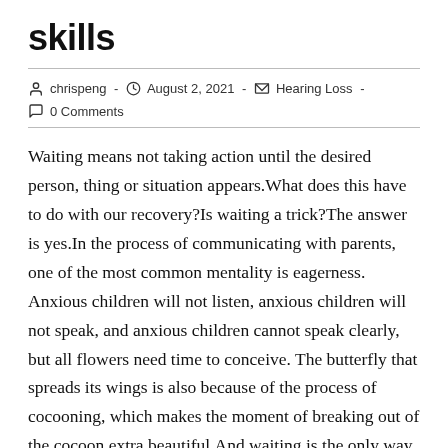skills
chrispeng  -  August 2, 2021  -  Hearing Loss  -  0 Comments
Waiting means not taking action until the desired person, thing or situation appears.What does this have to do with our recovery?Is waiting a trick?The answer is yes.In the process of communicating with parents, one of the most common mentality is eagerness. Anxious children will not listen, anxious children will not speak, and anxious children cannot speak clearly, but all flowers need time to conceive. The butterfly that spreads its wings is also because of the process of cocooning, which makes the moment of breaking out of the cocoon extra beautiful.And waiting is the only way in this